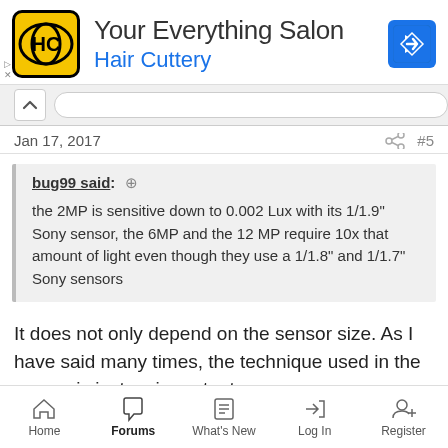[Figure (screenshot): Advertisement banner for Hair Cuttery salon with yellow HC logo, title 'Your Everything Salon', subtitle 'Hair Cuttery', and blue navigation arrow icon]
Jan 17, 2017   #5
bug99 said: ↗
the 2MP is sensitive down to 0.002 Lux with its 1/1.9" Sony sensor, the 6MP and the 12 MP require 10x that amount of light even though they use a 1/1.8" and 1/1.7" Sony sensors
It does not only depend on the sensor size. As I have said many times, the technique used in the sensor is just as important.
The 1/1.9" 2MP sensor is a normal Exmor sensor. It is very good but old